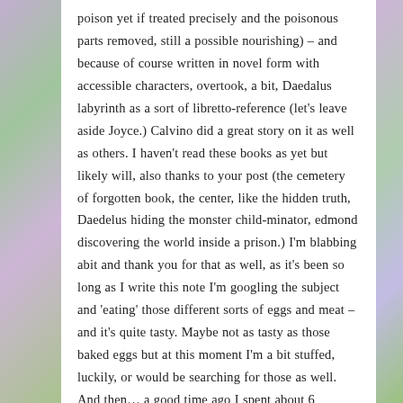poison yet if treated precisely and the poisonous parts removed, still a possible nourishing) – and because of course written in novel form with accessible characters, overtook, a bit, Daedalus labyrinth as a sort of libretto-reference (let's leave aside Joyce.) Calvino did a great story on it as well as others. I haven't read these books as yet but likely will, also thanks to your post (the cemetery of forgotten book, the center, like the hidden truth, Daedelus hiding the monster child-minator, edmond discovering the world inside a prison.) I'm blabbing abit and thank you for that as well, as it's been so long as I write this note I'm googling the subject and 'eating' those different sorts of eggs and meat – and it's quite tasty. Maybe not as tasty as those baked eggs but at this moment I'm a bit stuffed, luckily, or would be searching for those as well. And then… a good time ago I spent about 6